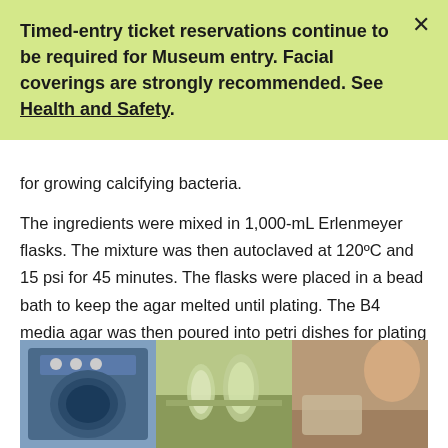Timed-entry ticket reservations continue to be required for Museum entry. Facial coverings are strongly recommended. See Health and Safety.
for growing calcifying bacteria.
The ingredients were mixed in 1,000-mL Erlenmeyer flasks. The mixture was then autoclaved at 120ºC and 15 psi for 45 minutes. The flasks were placed in a bead bath to keep the agar melted until plating. The B4 media agar was then poured into petri dishes for plating after solidifying.
[Figure (photo): Three side-by-side photos: an autoclave machine, flasks in a bead bath, and a person working with lab materials]